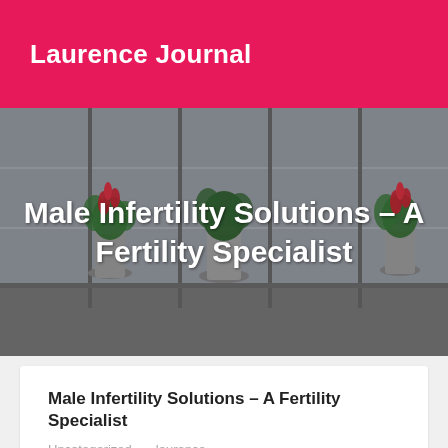Laurence Journal
[Figure (photo): Interior lobby or building atrium with metal planters containing red tropical flowers and green plants, against large glass windows and grey walls. Overlaid white bold text reads: Male Infertility Solutions – A Fertility Specialist]
Male Infertility Solutions – A Fertility Specialist
Male Infertility Solutions – A Fertility Specialist
Uncategorized    laurence
When infertility strikes a couple, the girl is